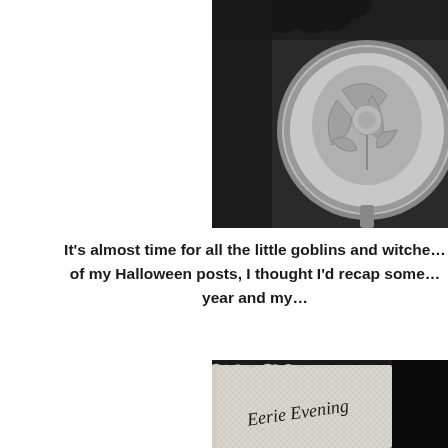[Figure (photo): Black and white photo of a decorative glass plate or dish with floral/leaf etching, with a dark bat or bird silhouette visible at top]
It’s almost time for all the little goblins and witche… of my Halloween posts, I thought I’d recap some… year and my…
[Figure (photo): Black and white photo of a white mesh/lace fabric bag with text 'Eerie Evening' written in gothic script]